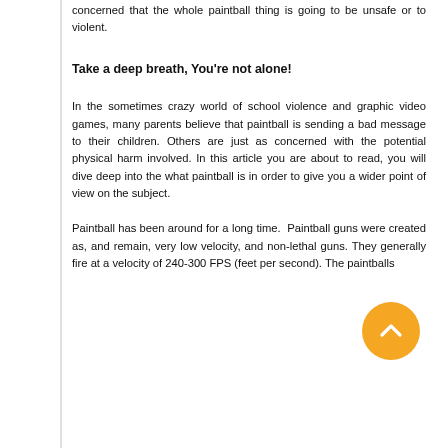concerned that the whole paintball thing is going to be unsafe or to violent.
Take a deep breath, You're not alone!
In the sometimes crazy world of school violence and graphic video games, many parents believe that paintball is sending a bad message to their children. Others are just as concerned with the potential physical harm involved. In this article you are about to read, you will dive deep into the what paintball is in order to give you a wider point of view on the subject.
Paintball has been around for a long time. Paintball guns were created as, and remain, very low velocity, and non-lethal guns. They generally fire at a velocity of 240-300 FPS (feet per second). The paintballs